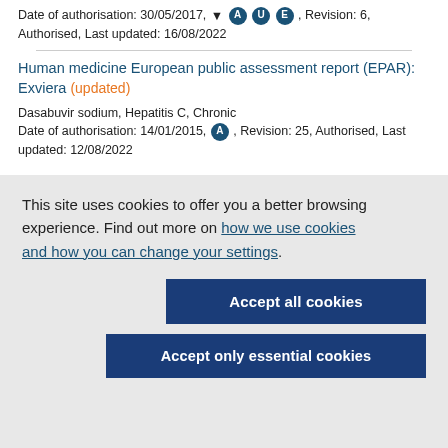Date of authorisation: 30/05/2017, ▼, A, U, E, Revision: 6, Authorised, Last updated: 16/08/2022
Human medicine European public assessment report (EPAR): Exviera (updated)
Dasabuvir sodium, Hepatitis C, Chronic
Date of authorisation: 14/01/2015, A, Revision: 25, Authorised, Last updated: 12/08/2022
This site uses cookies to offer you a better browsing experience. Find out more on how we use cookies and how you can change your settings.